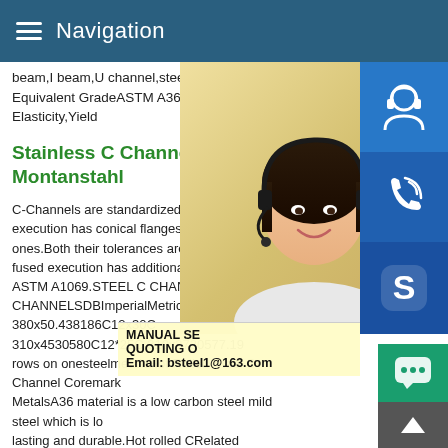Navigation
beam,I beam,U channel,steel angle,steel t Equivalent GradeASTM A36 Steel Propert Elasticity,Yield
Stainless C Channels American Montanstahl
[Figure (photo): Woman with headset customer service photo with blue icon buttons for customer service, phone, and Skype on the right side]
MANUAL SE QUOTING O Email: bsteel1@163.com
C-Channels are standardized channel sec execution has conical flanges,while the las ones.Both their tolerances are defined by fused execution has additionally the produ ASTM A1069.STEEL C CHANNELSSTEEL C CHANNELSDBImperialMetricmmmmC15x33.9C 380x50.438186C12x30C 310x4530580C12*25C 310x3730577.19 rows on onesteelmetalsHot Rolled Steel C Channel Coremark MetalsA36 material is a low carbon steel mild steel which is lo lasting and durable.Hot rolled CRelated searches for astm a36